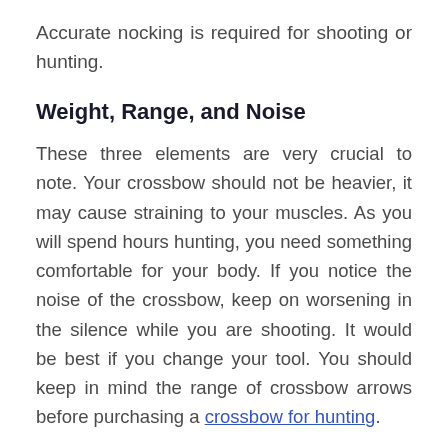Accurate nocking is required for shooting or hunting.
Weight, Range, and Noise
These three elements are very crucial to note. Your crossbow should not be heavier, it may cause straining to your muscles. As you will spend hours hunting, you need something comfortable for your body. If you notice the noise of the crossbow, keep on worsening in the silence while you are shooting. It would be best if you change your tool. You should keep in mind the range of crossbow arrows before purchasing a crossbow for hunting.